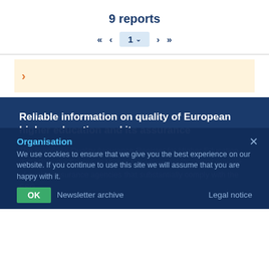9 reports
[Figure (screenshot): Pagination control showing « < 1 > » navigation with page 1 highlighted in blue]
[Figure (screenshot): Card preview with orange arrow on light yellow/orange background]
Reliable information on quality of European higher education and its assurance
The European Quality Assurance Register for Higher Education (EQAR) is the European Higher Education Area's official register of quality assurance agencies that substantially comply with the ESG.
Organisation
We use cookies to ensure that we give you the best experience on our website. If you continue to use this site we will assume that you are happy with it.
Newsletter archive
Legal notice